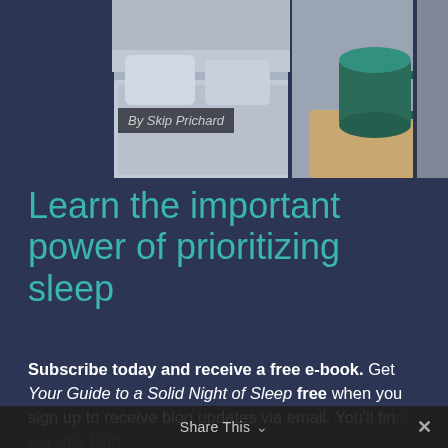[Figure (photo): A composite photo showing a cozy bedroom/home scene with a green mug on a wooden surface and bedside furniture, partially overlapping panels.]
By Skip Prichard
Learn the important power of prioritizing sleep
Subscribe today and receive a free e-book. Get Your Guide to a Solid Night of Sleep free when you sign up to receive blog updates via email. You'll find out why high-
Share This